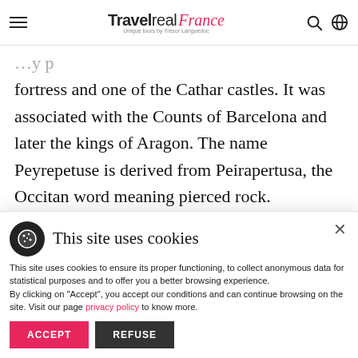Travel real France — Unique tours by Tresor Languedoc
fortress and one of the Cathar castles. It was associated with the Counts of Barcelona and later the kings of Aragon. The name Peyrepetuse is derived from Peirapertusa, the Occitan word meaning pierced rock.
This site uses cookies
This site uses cookies to ensure its proper functioning, to collect anonymous data for statistical purposes and to offer you a better browsing experience.
By clicking on "Accept", you accept our conditions and can continue browsing on the site. Visit our page privacy policy to know more.